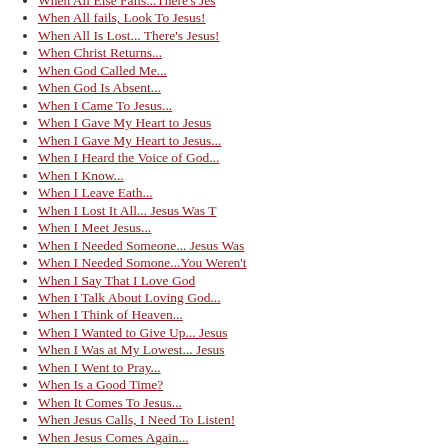When All Else Fails...There's Jes
When All fails, Look To Jesus!
When All Is Lost... There's Jesus!
When Christ Returns...
When God Called Me...
When God Is Absent...
When I Came To Jesus...
When I Gave My Heart to Jesus
When I Gave My Heart to Jesus...
When I Heard the Voice of God...
When I Know...
When I Leave Eath...
When I Lost It All... Jesus Was T
When I Meet Jesus...
When I Needed Someone... Jesus Was
When I Needed Somone...You Weren't
When I Say That I Love God
When I Talk About Loving God...
When I Think of Heaven...
When I Wanted to Give Up... Jesus
When I Was at My Lowest... Jesus
When I Went to Pray...
When Is a Good Time?
When It Comes To Jesus...
When Jesus Calls, I Need To Listen!
When Jesus Comes Again...
When Trouble Comes, Jesus Is Here!
When Was the Last Time...
When You Don't Have a Friend...
When You Face Trials and Heartache.